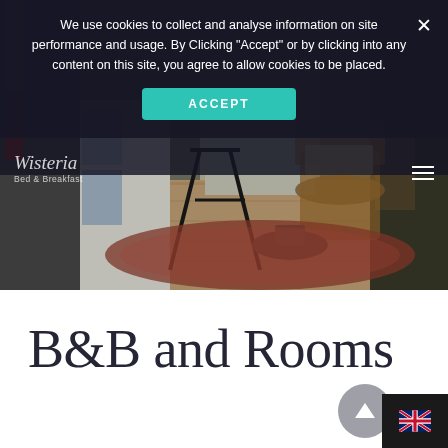[Figure (screenshot): Hero image of a B&B living room interior with chairs, a rug, hardwood floor, and a white cabinet, partially obscured by a dark cookie consent overlay banner]
We use cookies to collect and analyse information on site performance and usage. By Clicking "Accept" or by clicking into any content on this site, you agree to allow cookies to be placed.
ACCEPT
[Figure (logo): Wisteria Bed & Breakfast logo in white italic script]
B&B and Rooms